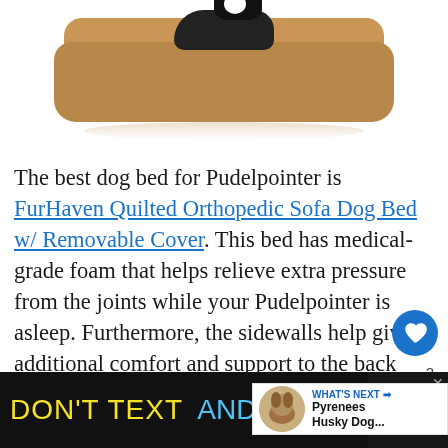[Figure (photo): A black and white dog (Border Collie) resting on a brown FurHaven Quilted Orthopedic Sofa Dog Bed with raised back support. The bed is tan/brown colored with bolster sides. White background with slight reflection below the bed.]
The best dog bed for Pudelpointer is FurHaven Quilted Orthopedic Sofa Dog Bed w/ Removable Cover. This bed has medical-grade foam that helps relieve extra pressure from the joints while your Pudelpointer is asleep. Furthermore, the sidewalls help give additional comfort and support to the back and neck of your Pudelpointer.
[Figure (screenshot): A circular heart/favorite button (blue circle with white heart icon) and a share button (circular with share icon) overlaid on the right side of the text. Shows '2' share count.]
[Figure (screenshot): A 'WHAT'S NEXT' panel showing a thumbnail of a dog and text 'Pyrenees Husky Dog...' with a right arrow.]
[Figure (screenshot): A black advertisement banner at the bottom reading 'DON'T TEXT AND' with a red car emoji, ad badge, NHTSA branding, and a close button X.]